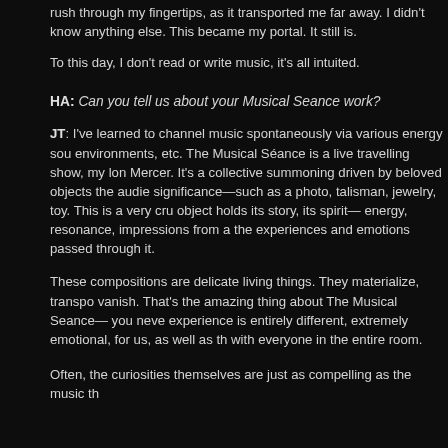rush through my fingertips, as it transported me far away. I didn't know anything else. This became my portal. It still is.
To this day, I don't read or write music, it's all intuited.
HA: Can you tell us about your Musical Seance work?
JT: I've learned to channel music spontaneously via various energy sources, environments, etc. The Musical Séance is a live travelling show, my long... Mercer. It's a collective summoning driven by beloved objects the audience... significance—such as a photo, talisman, jewelry, toy. This is a very crude... object holds its story, its spirit— energy, resonance, impressions from a... the experiences and emotions passed through it.
These compositions are delicate living things. They materialize, transpo... vanish. That's the amazing thing about The Musical Seance— you neve... experience is entirely different, extremely emotional, for us, as well as th... with everyone in the entire room.
Often, the curiosities themselves are just as compelling as the music th...